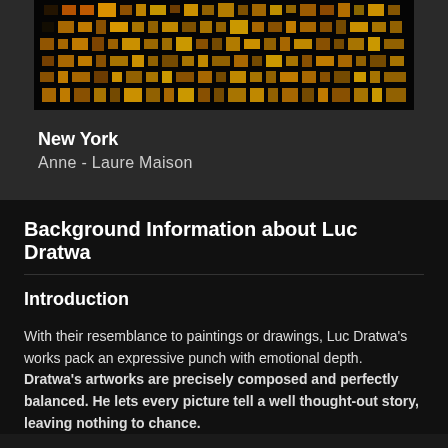[Figure (photo): Nighttime photograph of building windows with warm orange and yellow lights, arranged in a grid pattern against a dark background]
New York
Anne - Laure Maison
Background Information about Luc Dratwa
Introduction
With their resemblance to paintings or drawings, Luc Dratwa's works pack an expressive punch with emotional depth. Dratwa's artworks are precisely composed and perfectly balanced. He lets every picture tell a well thought-out story, leaving nothing to chance.